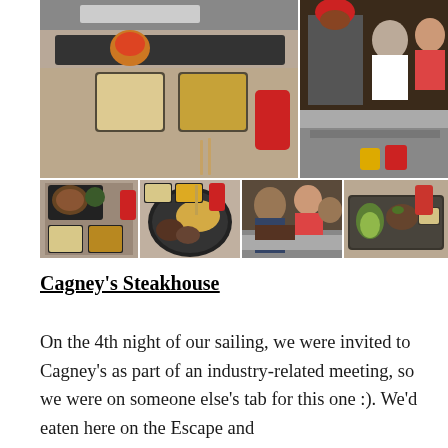[Figure (photo): Collage of 6 restaurant photos showing teppanyaki-style cooking: sauces in black trays, a chef cooking at a grill, meat and rice on plates, and food presentations on black rectangular plates with red cups and chopsticks.]
Cagney's Steakhouse
On the 4th night of our sailing, we were invited to Cagney's as part of an industry-related meeting, so we were on someone else's tab for this one :). We'd eaten here on the Escape and